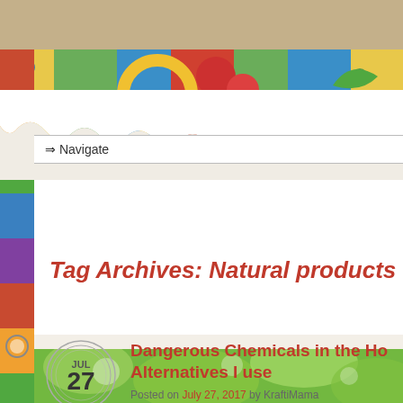[Figure (illustration): Colorful decorative banner with patchwork/mosaic pattern including floral and geometric designs in red, yellow, green, blue colors]
⇒ Navigate
[Figure (illustration): Torn paper decorative element overlapping the banner]
Tag Archives: Natural products
[Figure (illustration): Calendar date circle showing JUL 27]
Dangerous Chemicals in the Home and Alternatives I use
Posted on July 27, 2017 by KraftiMama
[Figure (photo): Green blurred nature/plant image at bottom]